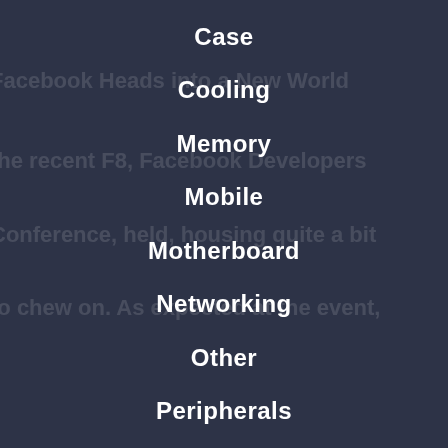Case
Cooling
Memory
Mobile
Motherboard
Networking
Other
Peripherals